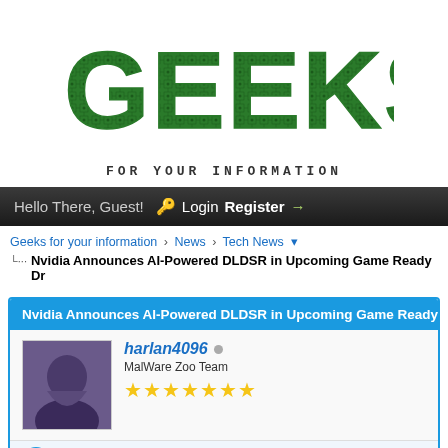[Figure (logo): GEEKS logo made of circuit board patterns in green, with tagline FOR YOUR INFORMATION below]
Hello There, Guest! Login Register
Geeks for your information › News › Tech News
Nvidia Announces AI-Powered DLDSR in Upcoming Game Ready Dr
Nvidia Announces AI-Powered DLDSR in Upcoming Game Ready Dri
harlan4096 MalWare Zoo Team ★★★★★★★